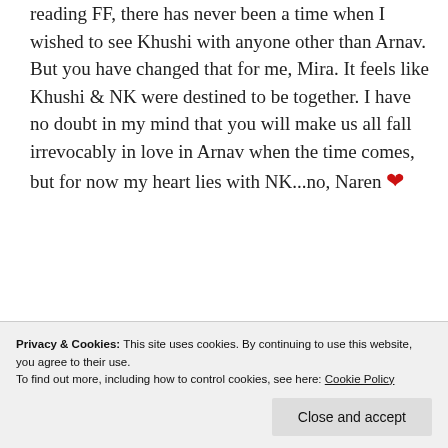reading FF, there has never been a time when I wished to see Khushi with anyone other than Arnav. But you have changed that for me, Mira. It feels like Khushi & NK were destined to be together. I have no doubt in my mind that you will make us all fall irrevocably in love in Arnav when the time comes, but for now my heart lies with NK...no, Naren ❤
"He" didn't fight her demons and she didn't know how to teach "him". But Naren could see through it all and give her the comfort she didn't realize she
Privacy & Cookies: This site uses cookies. By continuing to use this website, you agree to their use.
To find out more, including how to control cookies, see here: Cookie Policy